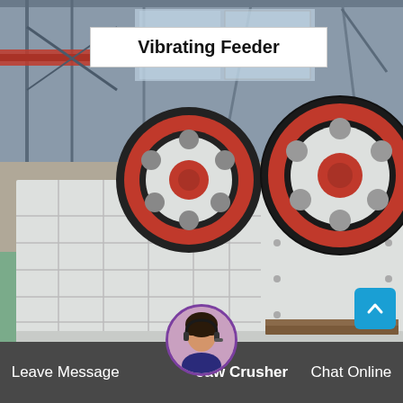[Figure (photo): Industrial jaw crusher machines in a factory warehouse. Two large white heavy-duty jaw crushers with red and black flywheels on a green floor, factory interior with steel structure in background.]
Vibrating Feeder
[Figure (photo): Customer service avatar: woman with headset]
Leave Message
Jaw Crusher
Chat Online